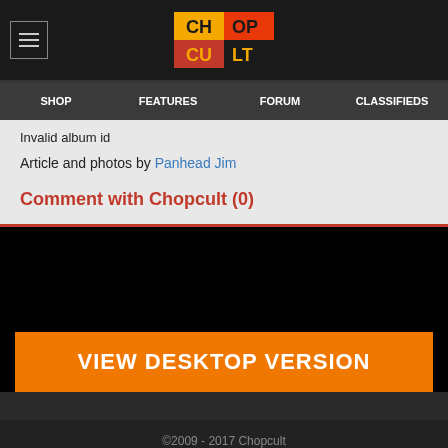Chopcult navigation header with logo and menu
Invalid album id
Article and photos by Panhead Jim
Comment with Chopcult (0)
VIEW DESKTOP VERSION
©2009 - 2017 Chopcult